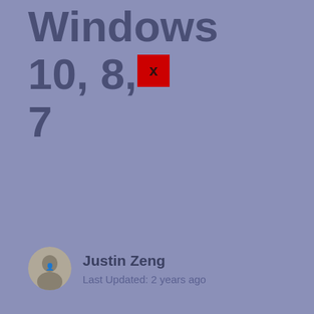Windows 10, 8, 7
Justin Zeng
Last Updated: 2 years ago
[Figure (photo): NVIDIA GeForce RTX 2070 graphics card with dual fans, showing the card from a top-angle perspective with green GEFORCE RTX lettering visible on the front edge.]